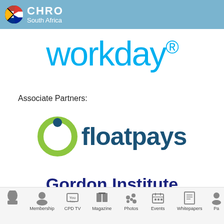[Figure (logo): CHRO South Africa logo with South African flag icon in a blue header bar]
[Figure (logo): Workday logo in light blue text on white background]
Associate Partners:
[Figure (logo): floatpays logo with green circle icon and dark blue text]
[Figure (logo): Gordon Institute of Business Science logo in dark navy bold text, partially visible]
Home | Membership | CPD TV | Magazine | Photos | Events | Whitepapers | Pa...